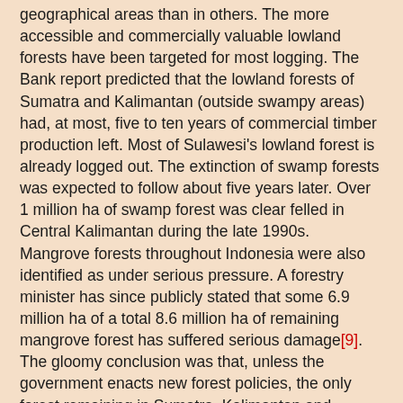geographical areas than in others. The more accessible and commercially valuable lowland forests have been targeted for most logging. The Bank report predicted that the lowland forests of Sumatra and Kalimantan (outside swampy areas) had, at most, five to ten years of commercial timber production left. Most of Sulawesi's lowland forest is already logged out. The extinction of swamp forests was expected to follow about five years later. Over 1 million ha of swamp forest was clear felled in Central Kalimantan during the late 1990s. Mangrove forests throughout Indonesia were also identified as under serious pressure. A forestry minister has since publicly stated that some 6.9 million ha of a total 8.6 million ha of remaining mangrove forest has suffered serious damage[9]. The gloomy conclusion was that, unless the government enacts new forest policies, the only forest remaining in Sumatra, Kalimantan and Sulawesi by 2010 would be high montane forest.
Other sources are even more pessimistic. In 1999 WWF estimated the rate of forest clearing at 2.4 million ha annually, up from 900,000ha in the late 1980s[10], while respected Indonesian forestry professor Hasanu Simon has said forest loss may be 2.5 million ha/year[11]. Indonesia lost 17% of its forests between 1985 and 1997[12]. Only around 17 million ha of 'commercially viable' forest was